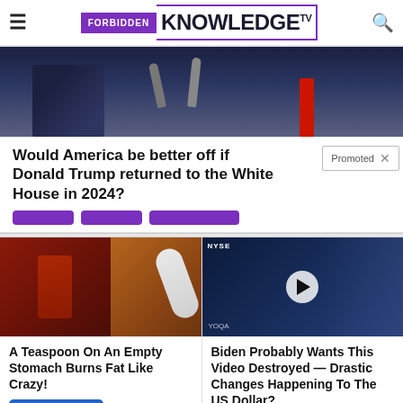FORBIDDEN KNOWLEDGE TV
[Figure (photo): Person at microphone podium with red tie, dark background]
Would America be better off if Donald Trump returned to the White House in 2024?
Promoted
[Figure (photo): Fitness person with abs and spice on a spoon – ad for fat burning remedy]
A Teaspoon On An Empty Stomach Burns Fat Like Crazy!
Find Out More
[Figure (photo): NYSE trading floor scene with video play button overlay]
Biden Probably Wants This Video Destroyed — Drastic Changes Happening To The US Dollar?
Watch The Video